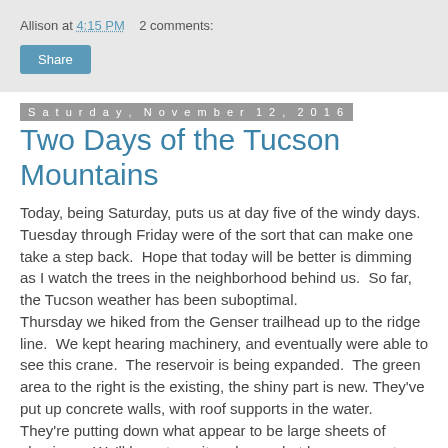Allison at 4:15 PM   2 comments:
Share
Saturday, November 12, 2016
Two Days of the Tucson Mountains
Today, being Saturday, puts us at day five of the windy days. Tuesday through Friday were of the sort that can make one take a step back. Hope that today will be better is dimming as I watch the trees in the neighborhood behind us. So far, the Tucson weather has been suboptimal.
Thursday we hiked from the Genser trailhead up to the ridge line. We kept hearing machinery, and eventually were able to see this crane. The reservoir is being expanded. The green area to the right is the existing, the shiny part is new. They've put up concrete walls, with roof supports in the water. They're putting down what appear to be large sheets of aluminum. We'll have to wait and see what happens next.